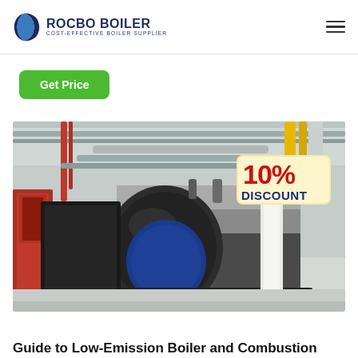ROCBO BOILER — COST-EFFECTIVE BOILER SUPPLIER
Get Price
[Figure (photo): Industrial boiler in a factory setting. A large cylindrical stainless steel fire-tube boiler is shown horizontally mounted, with yellow gas pipes and red pipes in the background. A '10% DISCOUNT' badge is overlaid in the upper right corner of the image.]
Guide to Low-Emission Boiler and Combustion